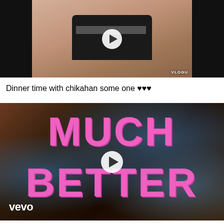[Figure (screenshot): Video thumbnail showing a person in a black and white striped shirt with a play button overlay and VLOGU watermark]
Dinner time with chikahan some one ♥♥♥
[Figure (screenshot): Vevo music video thumbnail with pink graffiti text reading MUCH BETTER on a dark crowd background, with a play button overlay and vevo logo]
Latto - Winner - Much Better (Official Video)